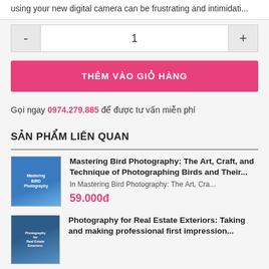using your new digital camera can be frustrating and intimidati...
- 1 +
THÊM VÀO GIỎ HÀNG
Gọi ngay 0974.279.885 để được tư vấn miễn phí
SẢN PHẨM LIÊN QUAN
Mastering Bird Photography: The Art, Craft, and Technique of Photographing Birds and Their... In Mastering Bird Photography: The Art, Cra... 59.000đ
Photography for Real Estate Exteriors: Taking and making professional first impression...